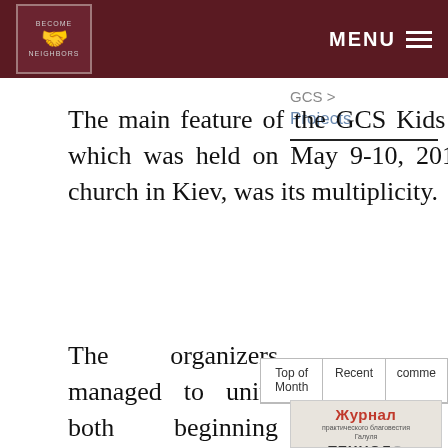BECOME NEIGHBORS — MENU
GCS > Projects
The main feature of the GCS Kids camp conference, which was held on May 9-10, 2019 in Philadelphia church in Kiev, was its multiplicity.
The organizers managed to unite both beginning ministers and the masters of children`s Christian camps, which provided a
| Top of Month | Recent | comments |
| --- | --- | --- |
[Figure (other): Журнал practical благовестия journal cover snippet showing Cyrillic text 'Журнал практического благовестия' and partial word 'ТЕХНОЛОГ']